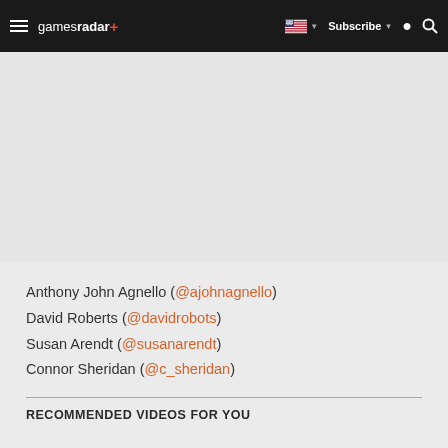gamesradar+ | Subscribe | Search
[Figure (other): Advertisement placeholder area (gray)]
Anthony John Agnello (@ajohnagnello)
David Roberts (@davidrobots)
Susan Arendt (@susanarendt)
Connor Sheridan (@c_sheridan)
RECOMMENDED VIDEOS FOR YOU